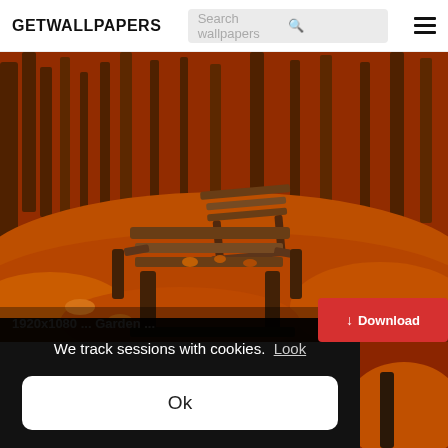GETWALLPAPERS
[Figure (screenshot): Search bar with placeholder text 'Search wallpapers' and a search icon]
[Figure (photo): Autumn park scene with two wooden benches surrounded by fallen orange and red leaves, trees in background. Image labeled '1920x1080 ... Garden ...' in bottom left corner.]
We track sessions with cookies. Look
Ok
Download